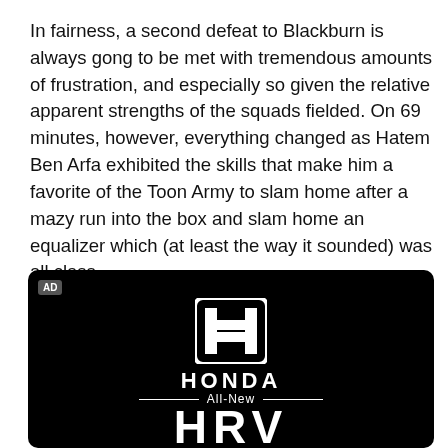In fairness, a second defeat to Blackburn is always gong to be met with tremendous amounts of frustration, and especially so given the relative apparent strengths of the squads fielded. On 69 minutes, however, everything changed as Hatem Ben Arfa exhibited the skills that make him a favorite of the Toon Army to slam home after a mazy run into the box and slam home an equalizer which (at least the way it sounded) was all class.
[Figure (other): Honda advertisement on black background showing the Honda logo (H emblem), HONDA wordmark, 'All-New' text with horizontal lines, and partial 'HRV' text at the bottom. AD label in top left corner.]